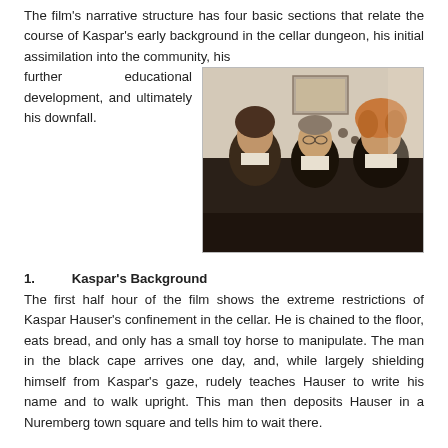The film's narrative structure has four basic sections that relate the course of Kaspar's early background in the cellar dungeon, his initial assimilation into the community, his further educational development, and ultimately his downfall.
[Figure (photo): A still from the film showing three men in period costume — dark suits with white collars — appearing to be in conversation in an interior setting.]
1. Kaspar's Background
The first half hour of the film shows the extreme restrictions of Kaspar Hauser's confinement in the cellar. He is chained to the floor, eats bread, and only has a small toy horse to manipulate. The man in the black cape arrives one day, and, while largely shielding himself from Kaspar's gaze, rudely teaches Hauser to write his name and to walk upright. This man then deposits Hauser in a Nuremberg town square and tells him to wait there.
2. Kaspar's Initial Assimilation into Nuremberg